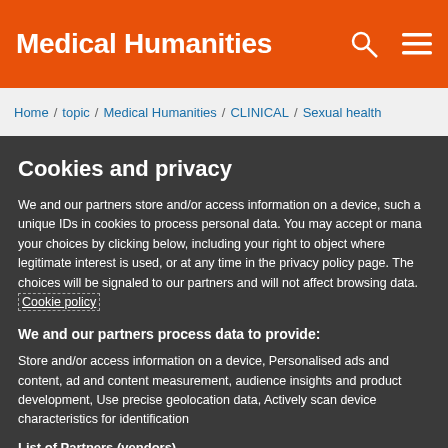Medical Humanities
Home / topic / Medical Humanities / CLINICAL / Sexual health
Cookies and privacy
We and our partners store and/or access information on a device, such as unique IDs in cookies to process personal data. You may accept or manage your choices by clicking below, including your right to object where legitimate interest is used, or at any time in the privacy policy page. These choices will be signaled to our partners and will not affect browsing data. Cookie policy
We and our partners process data to provide:
Store and/or access information on a device, Personalised ads and content, ad and content measurement, audience insights and product development, Use precise geolocation data, Actively scan device characteristics for identification
List of Partners (vendors)